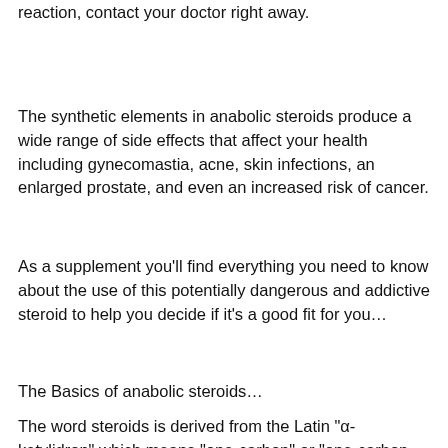reaction, contact your doctor right away.
The synthetic elements in anabolic steroids produce a wide range of side effects that affect your health including gynecomastia, acne, skin infections, an enlarged prostate, and even an increased risk of cancer.
As a supplement you'll find everything you need to know about the use of this potentially dangerous and addictive steroid to help you decide if it's a good fit for you…
The Basics of anabolic steroids…
The word steroids is derived from the Latin "α-ketylidron" which means "one-carbon" or "one-carbon double bond", which is used in genetics.